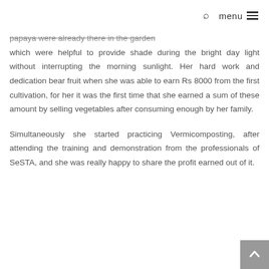🔍  menu ≡
papaya were already there in the garden which were helpful to provide shade during the bright day light without interrupting the morning sunlight. Her hard work and dedication bear fruit when she was able to earn Rs 8000 from the first cultivation, for her it was the first time that she earned a sum of these amount by selling vegetables after consuming enough by her family.
Simultaneously she started practicing Vermicomposting, after attending the training and demonstration from the professionals of SeSTA, and she was really happy to share the profit earned out of it.